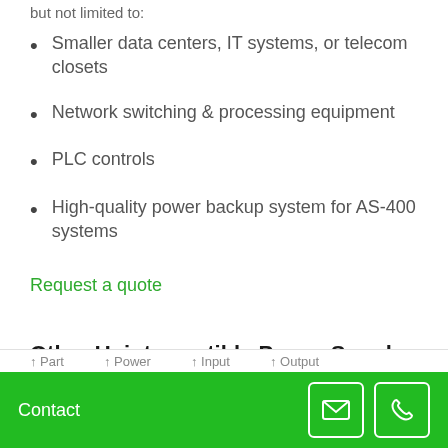but not limited to:
Smaller data centers, IT systems, or telecom closets
Network switching & processing equipment
PLC controls
High-quality power backup system for AS-400 systems
Request a quote
Other Uninterruptible Power Supply Models
Contact
Part   Power   Input   Output